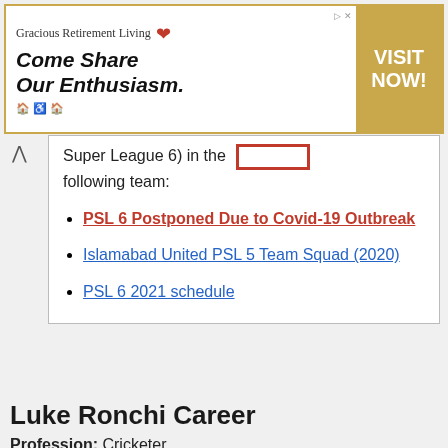[Figure (other): Advertisement banner for Gracious Retirement Living with tagline 'Come Share Our Enthusiasm' and 'VISIT NOW!' button on gold background]
Super League 6) in the following team:
PSL 6 Postponed Due to Covid-19 Outbreak
Islamabad United PSL 5 Team Squad (2020)
PSL 6 2021 schedule
Luke Ronchi Career
Profession: Cricketer
Known For: Playing powerful shots